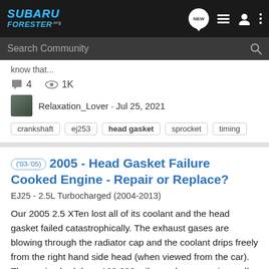SUBARU FORESTER.org
Search Community
know that...
4   1K
Relaxation_Lover · Jul 25, 2021
crankshaft  ej253  head gasket  sprocket  timing
('03-'05)  2005 - Head Gasket Failure Cooked Engine - Repair or Replace?
EJ25 - 2.5L Turbocharged (2004-2013)
Our 2005 2.5 XTen lost all of its coolant and the head gasket failed catastrophically. The exhaust gases are blowing through the radiator cap and the coolant drips freely from the right hand side head (when viewed from the car). The engine had done 100,000 miles and was running well beforehand...